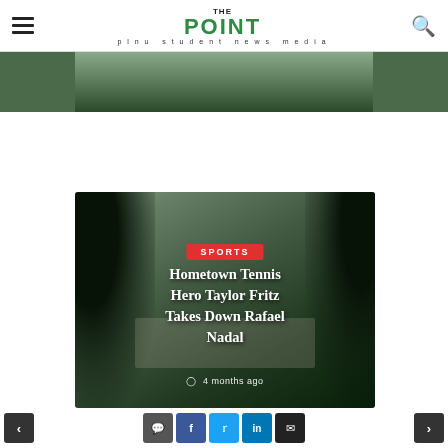THE POINT — plnu student news media
[Figure (photo): Partial top image strip showing outdoor/garden scene]
[Figure (photo): Article card image: outdoor scene with large trees and a building in the background. Sports category badge, headline 'Hometown Tennis Hero Taylor Fritz Takes Down Rafael Nadal', timestamp '4 months ago']
Hometown Tennis Hero Taylor Fritz Takes Down Rafael Nadal
SPORTS · 4 months ago
Navigation and social sharing buttons: previous, comment, facebook, twitter, linkedin, email, next